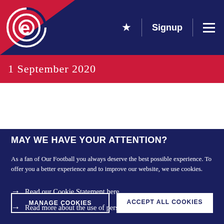Navigation bar with logo, star, Signup, and menu
1 September 2020
MAY WE HAVE YOUR ATTENTION?
As a fan of Our Football you always deserve the best possible experience. To offer you a better experience and to improve our website, we use cookies.
MANAGE COOKIES
ACCEPT ALL COOKIES
Read our Cookie Statement here
Read more about the use of personal data